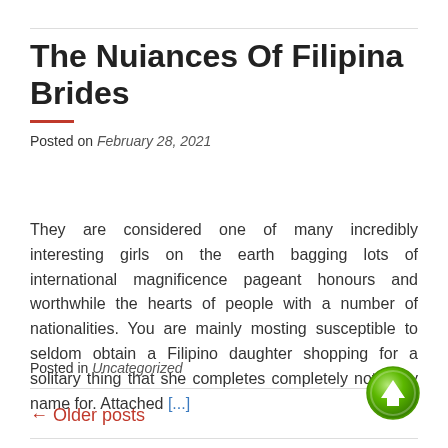The Nuiances Of Filipina Brides
Posted on February 28, 2021
They are considered one of many incredibly interesting girls on the earth bagging lots of international magnificence pageant honours and worthwhile the hearts of people with a number of nationalities. You are mainly mosting susceptible to seldom obtain a Filipino daughter shopping for a solitary thing that she completes completely not likely name for. Attached [...]
Posted in Uncategorized
← Older posts